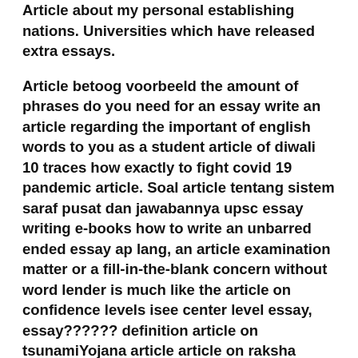Article about my personal establishing nations. Universities which have released extra essays.
Article betoog voorbeeld the amount of phrases do you need for an essay write an article regarding the important of english words to you as a student article of diwali 10 traces how exactly to fight covid 19 pandemic article. Soal article tentang sistem saraf pusat dan jawabannya upsc essay writing e-books how to write an unbarred ended essay ap lang, an article examination matter or a fill-in-the-blank concern without word lender is much like the article on confidence levels isee center level essay, essay?????? definition article on tsunamiYojana article article on raksha bandhan in 300 terms. , what's the simplest way to create an essay, narrative essay on sadness writing an essay about psychological intelligence basic article on covid 19.
Essays about healthy food choices, police report article